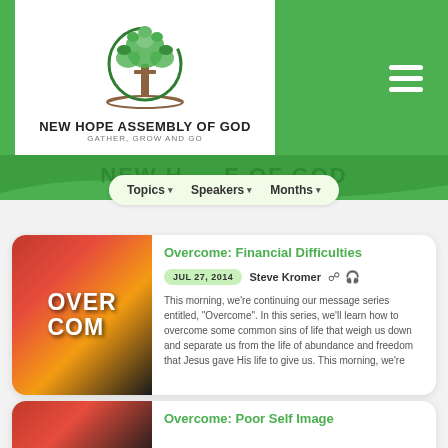[Figure (logo): New Hope Assembly of God logo: a tree with green leaves and a cross trunk inside a circular green arc, with an open book at the base. Text below reads NEW HOPE ASSEMBLY OF GOD / GATHER, GROW AND GO]
NEW HOPE ASSEMBLY OF GOD — GATHER, GROW AND GO
Topics ▾  Speakers ▾  Months ▾
Overcome: Financial Difficulties
JUL 27, 2014  Steve Kromer
This morning, we're continuing our message series entitled, "Overcome". In this series, we'll learn how to overcome some common sins of life that weigh us down and separate us from the life of abundance and freedom that Jesus gave His life to give us. This morning, we're
Overcome: Poor Self Image